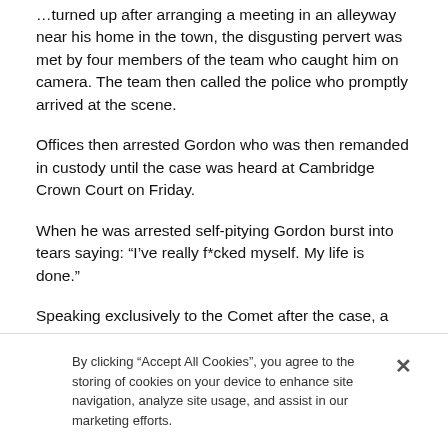...turned up after arranging a meeting in an alleyway near his home in the town, the disgusting pervert was met by four members of the team who caught him on camera. The team then called the police who promptly arrived at the scene.
Offices then arrested Gordon who was then remanded in custody until the case was heard at Cambridge Crown Court on Friday.
When he was arrested self-pitying Gordon burst into tears saying: “I’ve really f*cked myself. My life is done.”
Speaking exclusively to the Comet after the case, a spokesman for the group said: “Gordon’s intent to meet
By clicking “Accept All Cookies”, you agree to the storing of cookies on your device to enhance site navigation, analyze site usage, and assist in our marketing efforts.